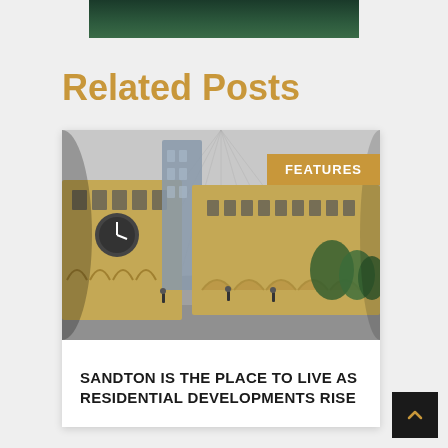[Figure (photo): Top image strip showing dark green foliage/nature scene, partially cropped at top]
Related Posts
[Figure (photo): Fish-eye lens photograph of Sandton City building complex in Johannesburg, showing ornate yellowstone buildings with arched windows, a clock tower, modern skyscraper in background, and people on the plaza. 'FEATURES' badge overlaid in top-right corner.]
SANDTON IS THE PLACE TO LIVE AS RESIDENTIAL DEVELOPMENTS RISE